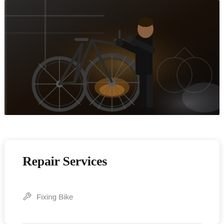[Figure (photo): A mechanic in black clothing working on a bicycle in a bike shop. Multiple bicycles visible in background with warm accent lighting.]
Repair Services
Fixing Bike